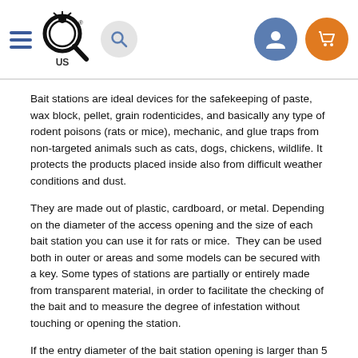Navigation header with hamburger menu, logo (magnifying glass with US), search icon, user icon, cart icon
Bait stations are ideal devices for the safekeeping of paste, wax block, pellet, grain rodenticides, and basically any type of rodent poisons (rats or mice), mechanic, and glue traps from non-targeted animals such as cats, dogs, chickens, wildlife. It protects the products placed inside also from difficult weather conditions and dust.
They are made out of plastic, cardboard, or metal. Depending on the diameter of the access opening and the size of each bait station you can use it for rats or mice.  They can be used both in outer or areas and some models can be secured with a key. Some types of stations are partially or entirely made from transparent material, in order to facilitate the checking of the bait and to measure the degree of infestation without touching or opening the station.
If the entry diameter of the bait station opening is larger than 5 cm, any type of rats can enter and feed on the